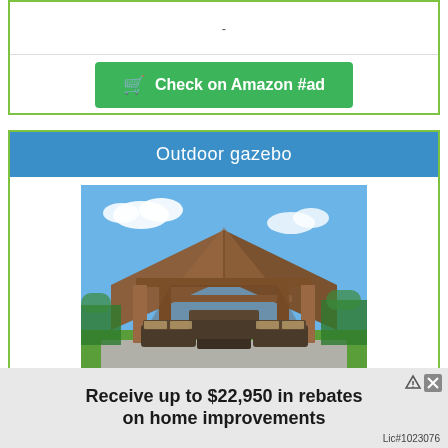-
Check on Amazon #ad
Outdoor gazebo
[Figure (photo): Outdoor wooden gazebo with open sides and peaked cedar roof, with patio furniture underneath, on a concrete pad with green lawn and blue sky background]
YARDISTRY Pre-Stained Premium Cedar Wood &
Receive up to $22,950 in rebates on home improvements Lic#1023076